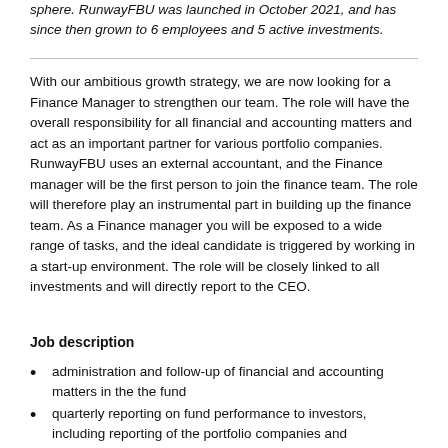sphere. RunwayFBU was launched in October 2021, and has since then grown to 6 employees and 5 active investments.
With our ambitious growth strategy, we are now looking for a Finance Manager to strengthen our team. The role will have the overall responsibility for all financial and accounting matters and act as an important partner for various portfolio companies. RunwayFBU uses an external accountant, and the Finance manager will be the first person to join the finance team. The role will therefore play an instrumental part in building up the finance team. As a Finance manager you will be exposed to a wide range of tasks, and the ideal candidate is triggered by working in a start-up environment. The role will be closely linked to all investments and will directly report to the CEO.
Job description
administration and follow-up of financial and accounting matters in the the fund
quarterly reporting on fund performance to investors, including reporting of the portfolio companies and